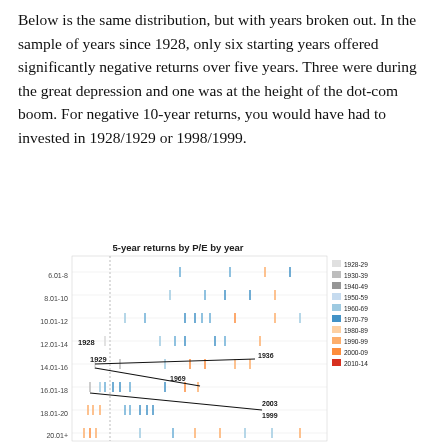Below is the same distribution, but with years broken out. In the sample of years since 1928, only six starting years offered significantly negative returns over five years. Three were during the great depression and one was at the height of the dot-com boom. For negative 10-year returns, you would have had to invested in 1928/1929 or 1998/1999.
[Figure (continuous-plot): A scatter/strip plot showing 5-year stock market returns by P/E ratio band (y-axis: 6.01-8, 8.01-10, 10.01-12, 12.01-14, 14.01-16, 16.01-18, 18.01-20, 20.01+) colored by decade (1928-29 through 2010-14). Trend lines are drawn through the data. Notable years labeled: 1928, 1929, 1936, 1969, 1999, 2003.]